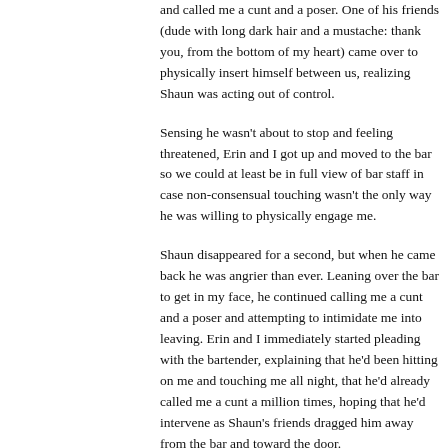and called me a cunt and a poser. One of his friends (dude with long dark hair and a mustache: thank you, from the bottom of my heart) came over to physically insert himself between us, realizing Shaun was acting out of control.
Sensing he wasn't about to stop and feeling threatened, Erin and I got up and moved to the bar so we could at least be in full view of bar staff in case non-consensual touching wasn't the only way he was willing to physically engage me.
Shaun disappeared for a second, but when he came back he was angrier than ever. Leaning over the bar to get in my face, he continued calling me a cunt and a poser and attempting to intimidate me into leaving. Erin and I immediately started pleading with the bartender, explaining that he'd been hitting on me and touching me all night, that he'd already called me a cunt a million times, hoping that he'd intervene as Shaun's friends dragged him away from the bar and toward the door.